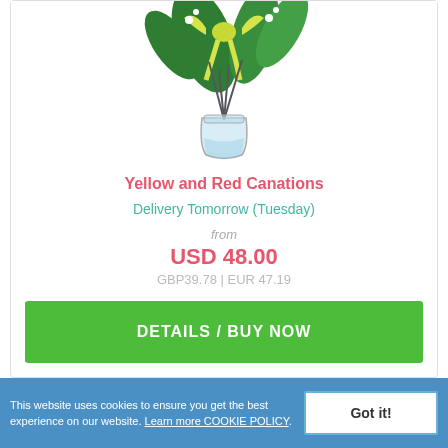[Figure (photo): A bouquet of yellow and red carnations in a glass vase with a yellow ribbon bow and white baby's breath accents]
Yellow and Red Canations
Delivery Tomorrow (Tuesday)
from
USD 48.00
GBP39.78 | EUR 47.19
DETAILS / BUY NOW
This website uses cookies to ensure you get the best experience on our website. Learn more COOKIE POLICY. Got it!